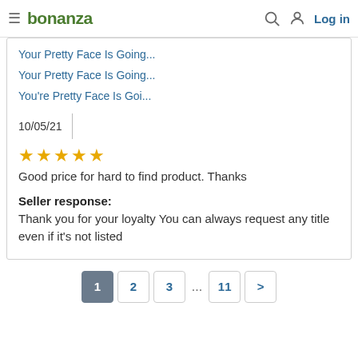bonanza | Log in
Your Pretty Face Is Going...
Your Pretty Face Is Going...
You're Pretty Face Is Goi...
10/05/21
[Figure (other): 5 gold star rating]
Good price for hard to find product. Thanks
Seller response:
Thank you for your loyalty You can always request any title even if it's not listed
1 2 3 ... 11 >